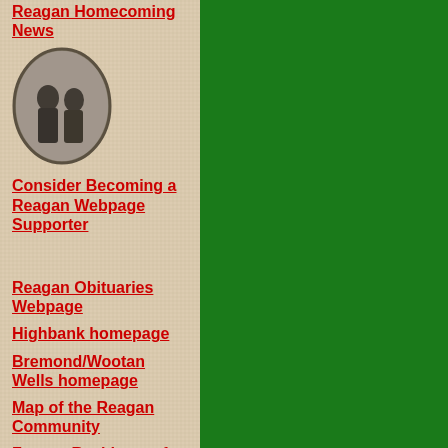Reagan Homecoming News
[Figure (photo): Oval-framed vintage black and white photograph of two people]
Consider Becoming a Reagan Webpage Supporter
Reagan Obituaries Webpage
Highbank homepage
Bremond/Wootan Wells homepage
Map of the Reagan Community
Former Residents of